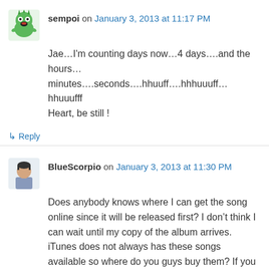sempoi on January 3, 2013 at 11:17 PM
Jae…I'm counting days now…4 days….and the hours…
minutes….seconds….hhuuff….hhhuuuff…hhuuufff
Heart, be still !
↳ Reply
BlueScorpio on January 3, 2013 at 11:30 PM
Does anybody knows where I can get the song online since it will be released first? I don't think I can wait until my copy of the album arrives. iTunes does not always has these songs available so where do you guys buy them? If you